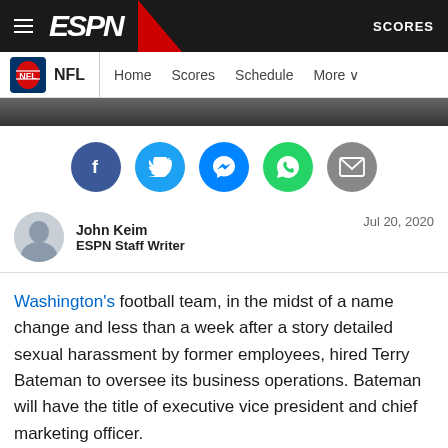ESPN — SCORES
NFL  Home  Scores  Schedule  More
[Figure (screenshot): Hero image dark strip at top of article]
[Figure (infographic): Social share icons: Facebook, Twitter, Messenger, WhatsApp, Email]
John Keim ESPN Staff Writer  Jul 20, 2020
Washington's football team, in the midst of a name change and less than a week after a story detailed sexual harassment by former employees, hired Terry Bateman to oversee its business operations. Bateman will have the title of executive vice president and chief marketing officer.
Washington announced on July 6 that it was retiring its former name. A new one is expected to be named before the season,